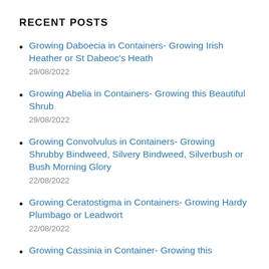RECENT POSTS
Growing Daboecia in Containers- Growing Irish Heather or St Dabeoc's Heath
29/08/2022
Growing Abelia in Containers- Growing this Beautiful Shrub
29/08/2022
Growing Convolvulus in Containers- Growing Shrubby Bindweed, Silvery Bindweed, Silverbush or Bush Morning Glory
22/08/2022
Growing Ceratostigma in Containers- Growing Hardy Plumbago or Leadwort
22/08/2022
Growing Cassinia in Container- Growing this